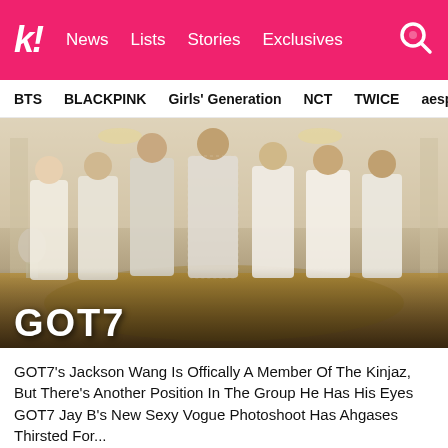k! News  Lists  Stories  Exclusives
BTS  BLACKPINK  Girls' Generation  NCT  TWICE  aespa
[Figure (photo): Seven members of GOT7 dressed in white outfits standing in a grand hall. Text 'GOT7' overlaid in white bold at the bottom left.]
GOT7's Jackson Wang Is Offically A Member Of The Kinjaz, But There's Another Position In The Group He Has His Eyes On
GOT7 Jay B's New Sexy Vogue Photoshoot Has Ahgases Thirsted For...